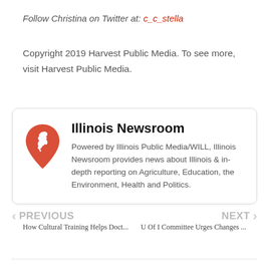Follow Christina on Twitter at: c_c_stella
Copyright 2019 Harvest Public Media. To see more, visit Harvest Public Media.
[Figure (infographic): Illinois Newsroom card with a red map pin icon containing a white Illinois state shape. Title: Illinois Newsroom. Description: Powered by Illinois Public Media/WILL, Illinois Newsroom provides news about Illinois & in-depth reporting on Agriculture, Education, the Environment, Health and Politics.]
PREVIOUS
How Cultural Training Helps Doct...
NEXT
U Of I Committee Urges Changes ...